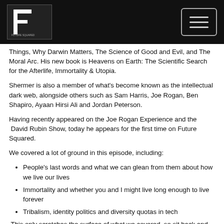Future Squared logo and menu button
Things, Why Darwin Matters, The Science of Good and Evil, and The Moral Arc. His new book is Heavens on Earth: The Scientific Search for the Afterlife, Immortality & Utopia.
Shermer is also a member of what's become known as the intellectual dark web, alongside others such as Sam Harris, Joe Rogan, Ben Shapiro, Ayaan Hirsi Ali and Jordan Peterson.
Having recently appeared on the Joe Rogan Experience and the  David Rubin Show, today he appears for the first time on Future Squared.
We covered a lot of ground in this episode, including:
People's last words and what we can glean from them about how we live our lives
Immortality and whether you and I might live long enough to live forever
Tribalism, identity politics and diversity quotas in tech
This only scratches the surface of what we covered, so sit back and let your ears be in for a delightening conversation...